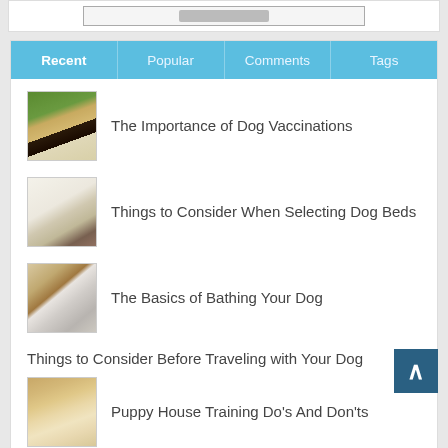[Figure (screenshot): Top area with a search or input box outline]
The Importance of Dog Vaccinations
Things to Consider When Selecting Dog Beds
The Basics of Bathing Your Dog
Things to Consider Before Traveling with Your Dog
Puppy House Training Do's And Don'ts